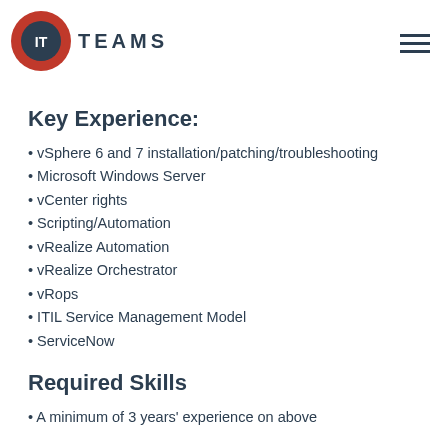[Figure (logo): IT Teams logo: red circular emblem with IT initials and the word TEAMS in dark letters, with hamburger menu icon on right]
Key Experience:
vSphere 6 and 7 installation/patching/troubleshooting
Microsoft Windows Server
vCenter rights
Scripting/Automation
vRealize Automation
vRealize Orchestrator
vRops
ITIL Service Management Model
ServiceNow
Required Skills
A minimum of 3 years' experience on above